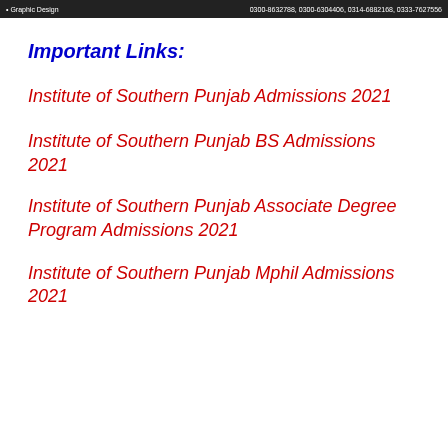Graphic Design | 0300-8632788, 0300-6304406, 0314-6882168, 0333-7627556
Important Links:
Institute of Southern Punjab Admissions 2021
Institute of Southern Punjab BS Admissions 2021
Institute of Southern Punjab Associate Degree Program Admissions 2021
Institute of Southern Punjab Mphil Admissions 2021